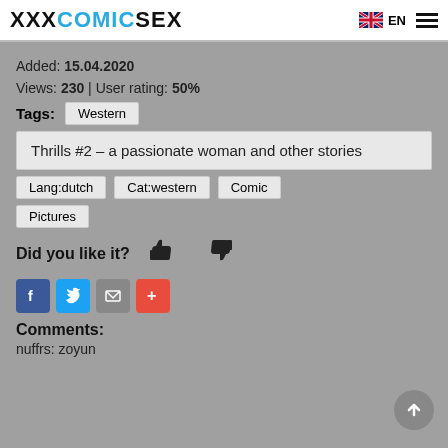XXXCOMICSEX EN
Added: 15.04.2020
Views: 230 | User rating: 50%
Tags: Western
Thrills #2 – a passionate woman and other stories
Lang:dutch
Cat:western
Comic
Pictures
Did you like it?
Comments:
nuffrs: zoyun